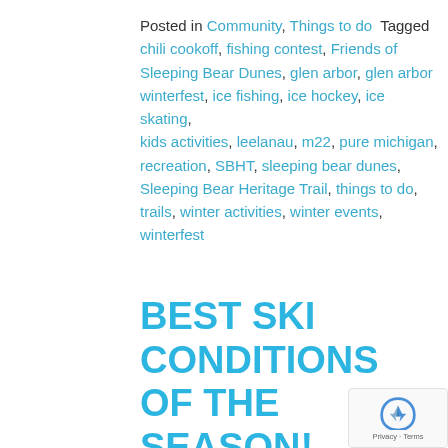Posted in Community, Things to do  Tagged chili cookoff, fishing contest, Friends of Sleeping Bear Dunes, glen arbor, glen arbor winterfest, ice fishing, ice hockey, ice skating, kids activities, leelanau, m22, pure michigan, recreation, SBHT, sleeping bear dunes, Sleeping Bear Heritage Trail, things to do, trails, winter activities, winter events, winterfest
BEST SKI CONDITIONS OF THE SEASON!